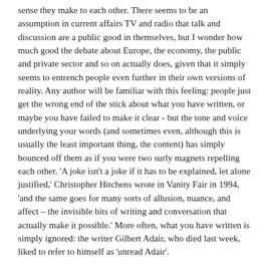sense they make to each other. There seems to be an assumption in current affairs TV and radio that talk and discussion are a public good in themselves, but I wonder how much good the debate about Europe, the economy, the public and private sector and so on actually does, given that it simply seems to entrench people even further in their own versions of reality. Any author will be familiar with this feeling: people just get the wrong end of the stick about what you have written, or maybe you have failed to make it clear - but the tone and voice underlying your words (and sometimes even, although this is usually the least important thing, the content) has simply bounced off them as if you were two surly magnets repelling each other. 'A joke isn't a joke if it has to be explained, let alone justified,' Christopher Hitchens wrote in Vanity Fair in 1994, 'and the same goes for many sorts of allusion, nuance, and affect – the invisible bits of writing and conversation that actually make it possible.' More often, what you have written is simply ignored: the writer Gilbert Adair, who died last week, liked to refer to himself as 'unread Adair'.
Still we remain what David Attenborough, in the last episode of Life on Earth, called the 'compulsive communicators'. It's just something we do and can't help doing, and sometimes our